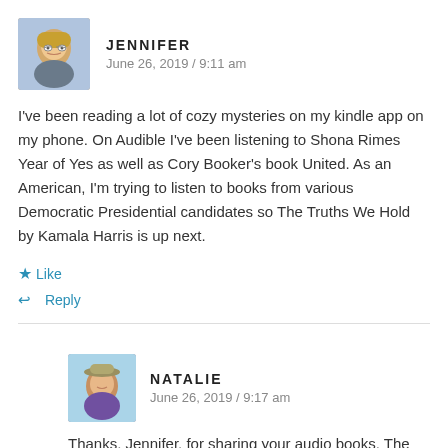JENNIFER
June 26, 2019 / 9:11 am
I've been reading a lot of cozy mysteries on my kindle app on my phone. On Audible I've been listening to Shona Rimes Year of Yes as well as Cory Booker's book United. As an American, I'm trying to listen to books from various Democratic Presidential candidates so The Truths We Hold by Kamala Harris is up next.
Like
Reply
NATALIE
June 26, 2019 / 9:17 am
Thanks, Jennifer, for sharing your audio books. The